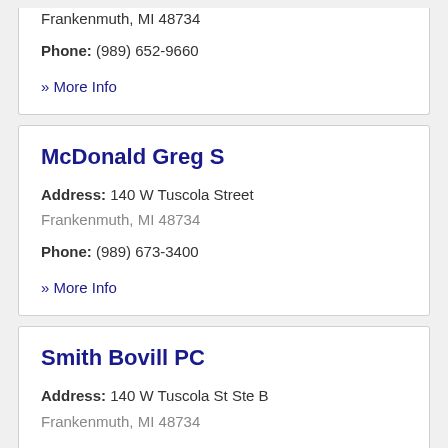Frankenmuth, MI 48734
Phone: (989) 652-9660
» More Info
McDonald Greg S
Address: 140 W Tuscola Street
Frankenmuth, MI 48734
Phone: (989) 673-3400
» More Info
Smith Bovill PC
Address: 140 W Tuscola St Ste B
Frankenmuth, MI 48734